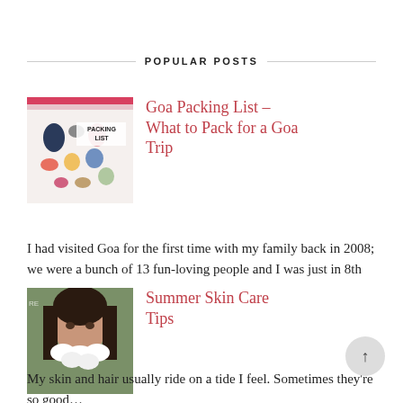POPULAR POSTS
[Figure (photo): Thumbnail image of Goa packing list — various clothing and accessory icons with text 'PACKING LIST']
Goa Packing List – What to Pack for a Goa Trip
I had visited Goa for the first time with my family back in 2008; we were a bunch of 13 fun-loving people and I was just in 8th gra…
[Figure (photo): Thumbnail photo of a woman with long dark hair holding white flowers up to her face]
Summer Skin Care Tips
My skin and hair usually ride on a tide I feel. Sometimes they're so good…